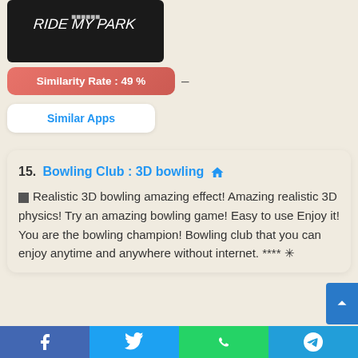[Figure (screenshot): Game app image with dark background showing 'Ride My Park' logo text in white stylized font]
Similarity Rate : 49 % –
Similar Apps
15. Bowling Club : 3D bowling 🏠 ▪ Realistic 3D bowling amazing effect! Amazing realistic 3D physics! Try an amazing bowling game! Easy to use Enjoy it! You are the bowling champion! Bowling club that you can enjoy anytime and anywhere without internet. **** ✳